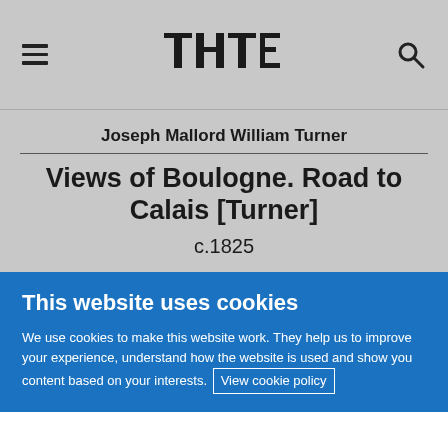TATE (logo with hamburger menu and search icon)
Joseph Mallord William Turner
Views of Boulogne. Road to Calais [Turner]
c.1825
This website uses cookies
We use cookies to make this website work. They help us to improve your experience, understand how the website is used and show you content based on your interests. View cookie policy